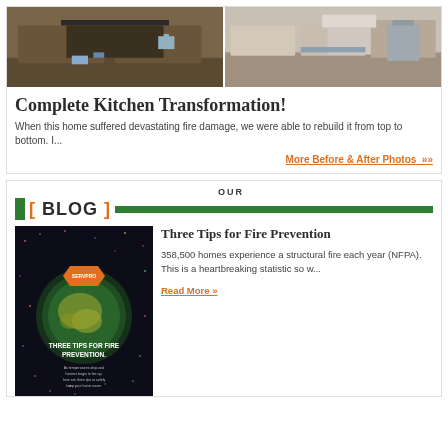[Figure (photo): Two kitchen photos side by side: left shows a kitchen with dark wood cabinets and island with clutter; right shows a renovated kitchen with light wood cabinets and stainless steel appliances]
Complete Kitchen Transformation!
When this home suffered devastating fire damage, we were able to rebuild it from top to bottom. I...
More Before & After Photos »
OUR BLOG
[Figure (photo): SERVPRO branded fire prevention tips infographic image with green globe/circle on dark starry background, orange SERVPRO house logo, text THREE TIPS FOR FIRE PREVENTION]
Three Tips for Fire Prevention
358,500 homes experience a structural fire each year (NFPA). This is a heartbreaking statistic so w...
Read More »